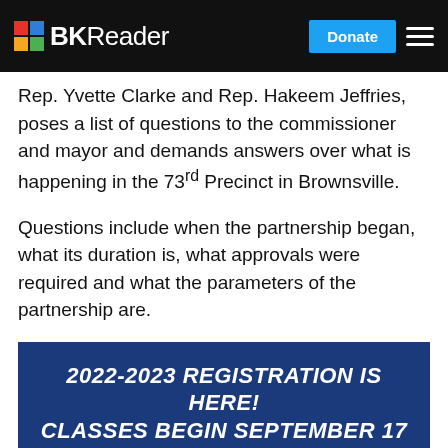BKReader — Donate
Rep. Yvette Clarke and Rep. Hakeem Jeffries, poses a list of questions to the commissioner and mayor and demands answers over what is happening in the 73rd Precinct in Brownsville.
Questions include when the partnership began, what its duration is, what approvals were required and what the parameters of the partnership are.
[Figure (infographic): Dark blue advertisement banner with white bold italic text reading: 2022-2023 REGISTRATION IS HERE! CLASSES BEGIN SEPTEMBER 17 5% EARLY REGISTRATION & 10% SIBLING DISCOUNTS]